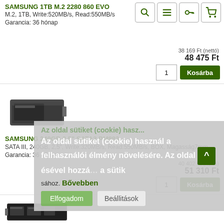SAMSUNG 1TB M.2 2280 860 EVO
M.2, 1TB, Write:520MB/s, Read:550MB/s
Garancia: 36 hónap
38 169 Ft (nettó)
48 475 Ft
[Figure (screenshot): Four icon buttons: magnifying glass, hamburger menu, key, shopping cart]
SAMSUNG 240GB 2,5" SATA3 PM883
[Figure (photo): Samsung SSD drive, 2.5 inch form factor, black]
SATA III, 240GB, 2,5", Write:320MB/s, Read:550MB/s, BOX, Magasság7mm
Garancia: 36 hónap
40 402 Ft (nettó)
51 310 Ft
Az oldal sütiket (cookie) használ a felhasználói élmény növelésére. Az oldal használatával, illetve a Elfogadom gomb megnyomásával hozzájárulsz a sütik használatához. Bővebben
[Figure (photo): Samsung M.2 NVMe SSD drive]
SAMSUNG 1TB M.2 2280 NVME 970 EVO PLUS
M.2, 1TB, 2280, Write:3300MB/s, Read:3500MB/s, NVMe
Garancia: 36 hónap
45 221 Ft (nettó)